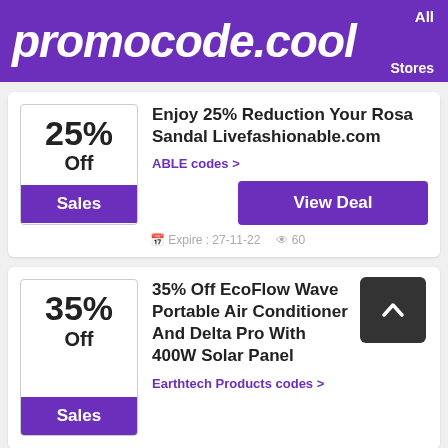promocode.cool | All Stores
Enjoy 25% Reduction Your Rosa Sandal Livefashionable.com
ABLE codes >
View Deal
Expire: 27-11-22  60
35% Off EcoFlow Wave Portable Air Conditioner And Delta Pro With 400W Solar Panel
Earthtech Products codes >